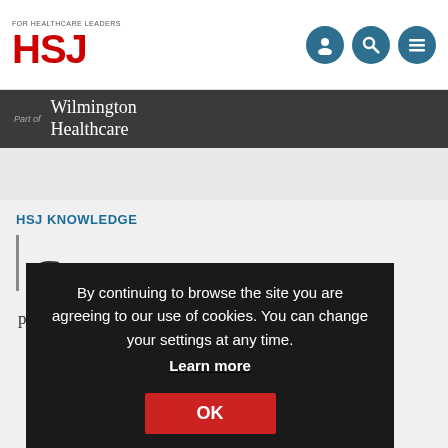HSJ - For Healthcare Leaders
[Figure (logo): HSJ logo with tagline 'FOR HEALTHCARE LEADERS' and navigation icons]
Part of Wilmington Healthcare
HSJ KNOWLEDGE
By continuing to browse the site you are agreeing to our use of cookies. You can change your settings at any time. Learn more OK
efficiency